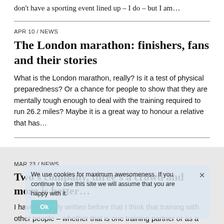don't have a sporting event lined up – I do – but I am…
APR 10 / NEWS
The London marathon: finishers, fans and their stories
What is the London marathon, really? Is it a test of physical preparedness? Or a chance for people to show that they are mentally tough enough to deal with the training required to run 26.2 miles? Maybe it is a great way to honour a relative that has…
MAR 23 / NEWS
Two's company, three's a crowd and more is better…
I have certainly written before that I think that training with other people – whether that is one training partner or as a
We use cookies for maximum awesomeness. If you continue to use this site we will assume that you are happy with it.